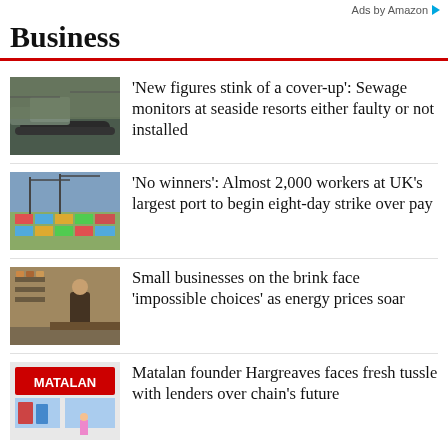Ads by Amazon
Business
[Figure (photo): Sewage pipes at seaside location]
'New figures stink of a cover-up': Sewage monitors at seaside resorts either faulty or not installed
[Figure (photo): Aerial view of UK port with containers and workers]
'No winners': Almost 2,000 workers at UK's largest port to begin eight-day strike over pay
[Figure (photo): Small business interior with products and person]
Small businesses on the brink face 'impossible choices' as energy prices soar
[Figure (photo): Matalan store front with red signage]
Matalan founder Hargreaves faces fresh tussle with lenders over chain's future